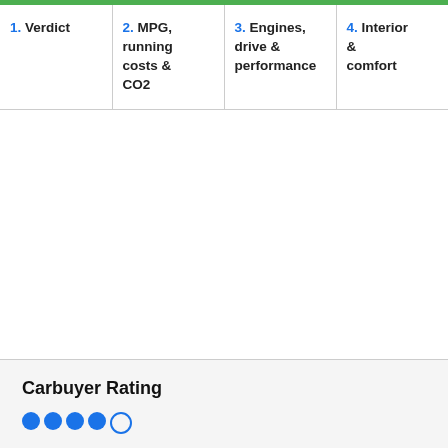| 1. Verdict | 2. MPG, running costs & CO2 | 3. Engines, drive & performance | 4. Interior & comfort |
| --- | --- | --- | --- |
Carbuyer Rating